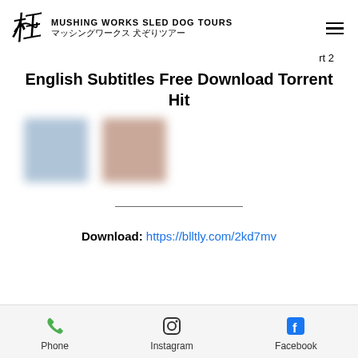MUSHING WORKS SLED DOG TOURS マッシングワークス 犬ぞりツアー
rt 2
English Subtitles Free Download Torrent Hit
[Figure (photo): Two blurred thumbnail images side by side]
Download: https://blltly.com/2kd7mv
Phone  Instagram  Facebook